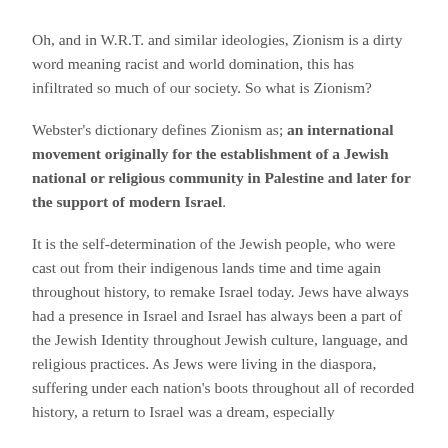Oh, and in W.R.T. and similar ideologies, Zionism is a dirty word meaning racist and world domination, this has infiltrated so much of our society. So what is Zionism?
Webster's dictionary defines Zionism as; an international movement originally for the establishment of a Jewish national or religious community in Palestine and later for the support of modern Israel.
It is the self-determination of the Jewish people, who were cast out from their indigenous lands time and time again throughout history, to remake Israel today. Jews have always had a presence in Israel and Israel has always been a part of the Jewish Identity throughout Jewish culture, language, and religious practices. As Jews were living in the diaspora, suffering under each nation's boots throughout all of recorded history, a return to Israel was a dream, especially